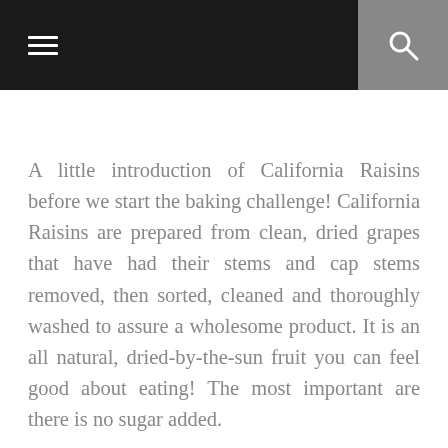Navigation bar with menu and search icons
A little introduction of California Raisins before we start the baking challenge! California Raisins are prepared from clean, dried grapes that have had their stems and cap stems removed, then sorted, cleaned and thoroughly washed to assure a wholesome product. It is an all natural, dried-by-the-sun fruit you can feel good about eating! The most important are there is no sugar added.